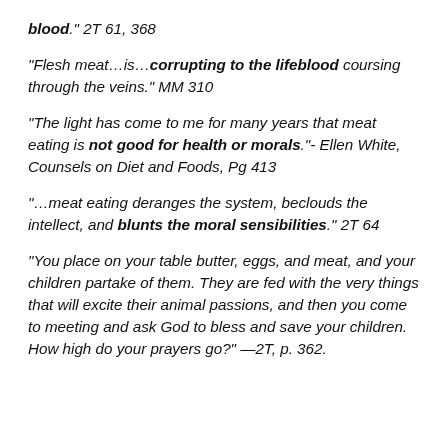blood." 2T 61, 368
"Flesh meat…is…corrupting to the lifeblood coursing through the veins." MM 310
"The light has come to me for many years that meat eating is not good for health or morals."- Ellen White, Counsels on Diet and Foods, Pg 413
"…meat eating deranges the system, beclouds the intellect, and blunts the moral sensibilities." 2T 64
"You place on your table butter, eggs, and meat, and your children partake of them. They are fed with the very things that will excite their animal passions, and then you come to meeting and ask God to bless and save your children. How high do your prayers go?" —2T, p. 362.